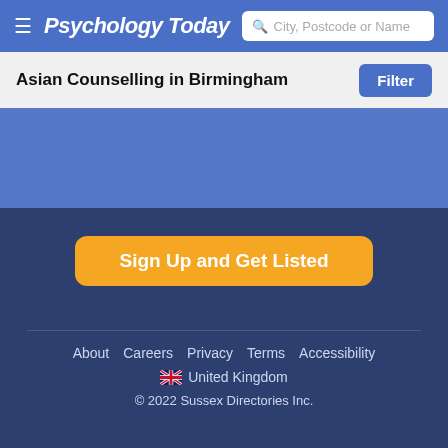Psychology Today — City, Postcode or Name search
Asian Counselling in Birmingham
Sign Up and Get Listed
About  Careers  Privacy  Terms  Accessibility  United Kingdom  © 2022 Sussex Directories Inc.